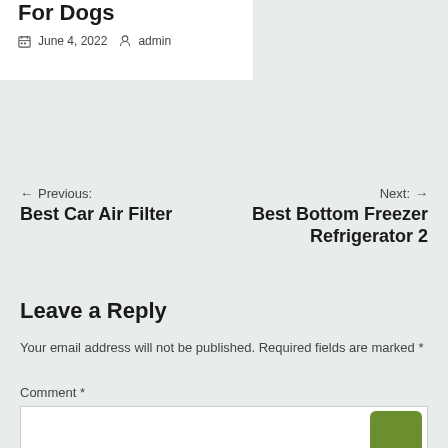For Dogs
June 4, 2022   admin
← Previous: Best Car Air Filter
Next: → Best Bottom Freezer Refrigerator 2
Leave a Reply
Your email address will not be published. Required fields are marked *
Comment *